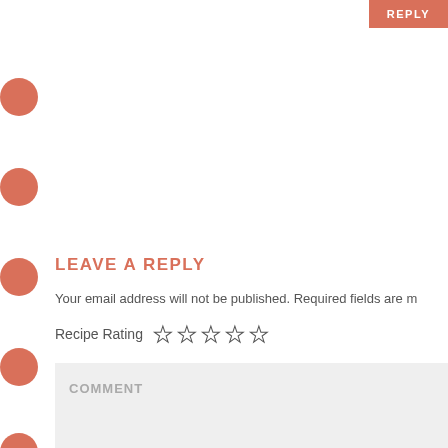REPLY
LEAVE A REPLY
Your email address will not be published. Required fields are m
Recipe Rating ☆☆☆☆☆
COMMENT